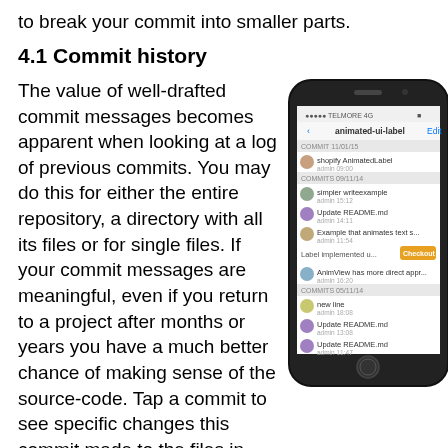to break your commit into smaller parts.
4.1 Commit history
The value of well-drafted commit messages becomes apparent when looking at a log of previous commits. You may do this for either the entire repository, a directory with all its files or for single files. If your commit messages are meaningful, even if you return to a project after months or years you have a much better chance of making sense of the source-code. Tap a commit to see specific changes this commit made to the files in question.
[Figure (screenshot): Screenshot of a mobile phone (iPhone) displaying a commit history screen titled 'animated-ui-label' showing a list of commits with user avatars, commit messages, and dates. One commit entry has an orange 'Checkout' button.]
The images shown in commit-logs are determined from the email-address of the person making the commit with the help of